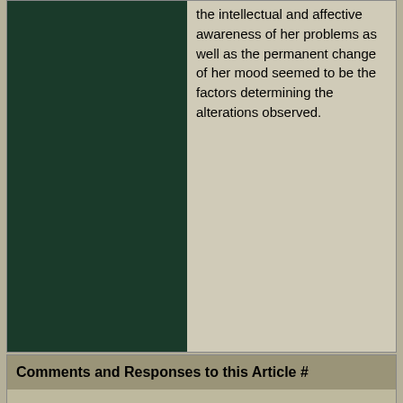[Figure (photo): Dark green/teal solid color block occupying the left column of a two-column layout]
the intellectual and affective awareness of her problems as well as the permanent change of her mood seemed to be the factors determining the alterations observed.
Comments and Responses to this Article #
Submit Comment
[ Cite HTML ]
[ back to references ]
About this Document ▶  |  Created by Erowid - Jan 5, 2000  |  Modified - Sep 9, 2021
Content & design © 1995-2020 Erowid.org. Permission required before publicly reproducing Erowid info.